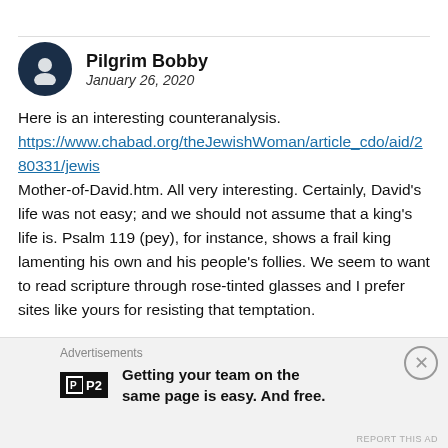Pilgrim Bobby
January 26, 2020
Here is an interesting counteranalysis. https://www.chabad.org/theJewishWoman/article_cdo/aid/280331/jewis Mother-of-David.htm. All very interesting. Certainly, David’s life was not easy; and we should not assume that a king’s life is. Psalm 119 (pey), for instance, shows a frail king lamenting his own and his people’s follies. We seem to want to read scripture through rose-tinted glasses and I prefer sites like yours for resisting that temptation.
Like
Reply
Advertisements
Getting your team on the same page is easy. And free.